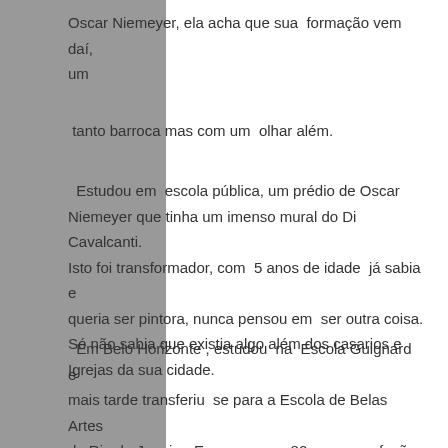Oscar Niemeyer, ela acha que sua formação vem daí, um
tanto barroca mas com um olhar além.
Estudou em escola pública, um prédio de Oscar Niemeyer que tinha um imenso mural do Di Cavalcanti. Isto foi transformador, com 5 anos de idade já sabia e queria ser pintora, nunca pensou em ser outra coisa. Só não sabia que existia algo além dos casarios e Igrejas da sua cidade.
Em Belo Horizonte , estudou na Escola Guignard e mais tarde transferiu se para a Escola de Belas Artes do Rio de Janeiro. Eram os anos 80 e uma profusão de artistas, idéias típicas da geração que foi muito